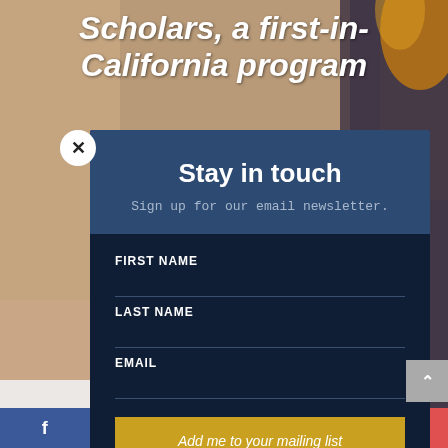[Figure (screenshot): Background photo of people's hands/arms with a blurred background, overlaid with partial title text reading 'Scholars, a first-in-California program']
Scholars, a first-in-California program
Stay in touch
Sign up for our email newsletter.
FIRST NAME
LAST NAME
EMAIL
Add me to your mailing list
[Figure (infographic): Social media share bar at bottom with Facebook (blue), Twitter (light blue), Email (gray), Pinterest (red), and More (+) (red-orange) buttons]